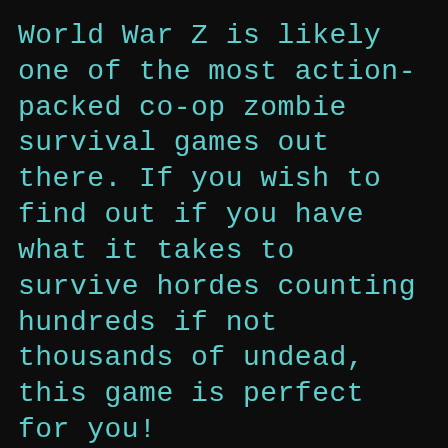World War Z is likely one of the most action-packed co-op zombie survival games out there. If you wish to find out if you have what it takes to survive hordes counting hundreds if not thousands of undead, this game is perfect for you!
The game offers players plenty of versatility with its character class system to complement different playstyles. Are you an aggressive player? Try the Slasher class who has special benefits for going on large killing